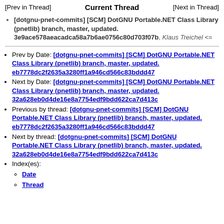[Prev in Thread]   Current Thread   [Next in Thread]
[dotgnu-pnet-commits] [SCM] DotGNU Portable.NET Class Library (pnetlib) branch, master, updated. 3e9ace578aeacadca58a7b6ae0756c80d703f07b, Klaus Treichel <=
Prev by Date: [dotgnu-pnet-commits] [SCM] DotGNU Portable.NET Class Library (pnetlib) branch, master, updated. eb7778dc2f2635a3280ff1a946cd566c83bddd47
Next by Date: [dotgnu-pnet-commits] [SCM] DotGNU Portable.NET Class Library (pnetlib) branch, master, updated. 32a628eb0d4de16e8a7754edf9bdd622ca7d413c
Previous by thread: [dotgnu-pnet-commits] [SCM] DotGNU Portable.NET Class Library (pnetlib) branch, master, updated. eb7778dc2f2635a3280ff1a946cd566c83bddd47
Next by thread: [dotgnu-pnet-commits] [SCM] DotGNU Portable.NET Class Library (pnetlib) branch, master, updated. 32a628eb0d4de16e8a7754edf9bdd622ca7d413c
Index(es): Date, Thread